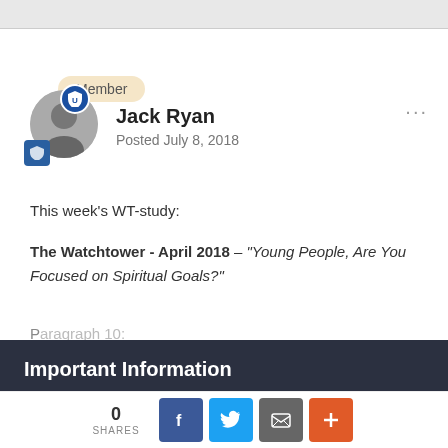Member
Jack Ryan
Posted July 8, 2018
This week's WT-study:
The Watchtower - April 2018 – "Young People, Are You Focused on Spiritual Goals?"
Important Information
Terms of Service Confirmation Terms of Use Privacy Policy Guidelines We have placed cookies on your device to help make this website better. You can adjust your cookie settings, otherwise we'll assume you're okay to continue.
0 SHARES